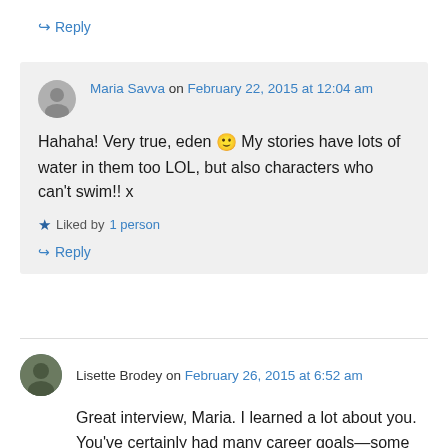↪ Reply
Maria Savva on February 22, 2015 at 12:04 am
Hahaha! Very true, eden 🙂 My stories have lots of water in them too LOL, but also characters who can't swim!! x
★ Liked by 1 person
↪ Reply
Lisette Brodey on February 26, 2015 at 6:52 am
Great interview, Maria. I learned a lot about you. You've certainly had many career goals—some